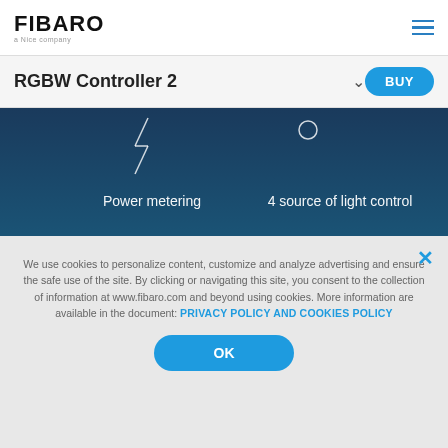FIBARO — a Nice company
RGBW Controller 2
[Figure (photo): Dark-themed product image of FIBARO RGBW Controller 2 device on a gradient blue-teal background, with text labels 'Power metering' and '4 source of light control']
We use cookies to personalize content, customize and analyze advertising and ensure the safe use of the site. By clicking or navigating this site, you consent to the collection of information at www.fibaro.com and beyond using cookies. More information are available in the document: PRIVACY POLICY AND COOKIES POLICY
OK